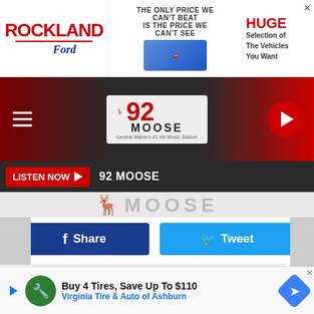[Figure (screenshot): Rockland Ford advertisement banner with red logo, truck image, and 'HUGE Selection' text]
[Figure (logo): 92 Moose radio station logo with moose mascot on dark gradient nav bar with hamburger menu and play button]
LISTEN NOW  92 MOOSE
MOOSE
f  Share
Tweet
DOWNLOAD THE 92 MOOSE MOBILE APP
GET OUR FREE MOBILE APP
Also listen on:  amazon alexa
A gust of wind blew the boat away from the swimmers. Two were a[...] der and so[...]
[Figure (screenshot): Bottom ad: Buy 4 Tires, Save Up To $110 - Virginia Tire & Auto of Ashburn]